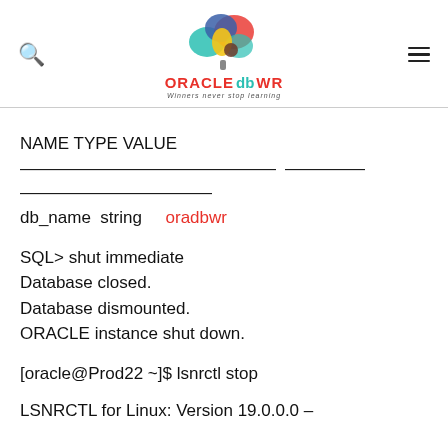[Figure (logo): Oracle DB WR logo with colorful cloud/tree icon and text 'ORACLE db WR' with tagline 'Winners never stop learning']
NAME TYPE VALUE
————————————— ————— ——————————————
db_name string oradbwr
SQL> shut immediate
Database closed.
Database dismounted.
ORACLE instance shut down.
[oracle@Prod22 ~]$ lsnrctl stop
LSNRCTL for Linux: Version 19.0.0.0 –